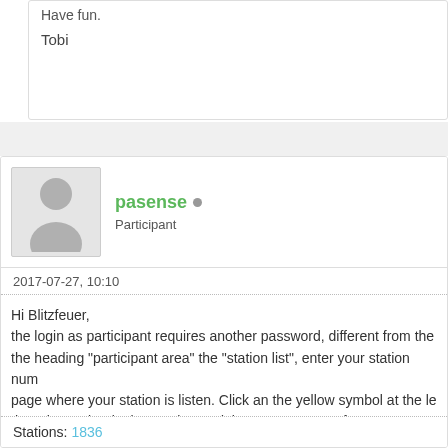Have fun.

Tobi
pasense • Participant
2017-07-27, 10:10
Hi Blitzfeuer, the login as participant requires another password, different from the the heading "participant area" the "station list", enter your station num page where your station is listen. Click an the yellow symbol at the le there is a point "login", try that and then you can say "forgot password To change the data concerning your station, the only way I found is a new password, then you get a page where you can put in all data. Go
Stations: 1836